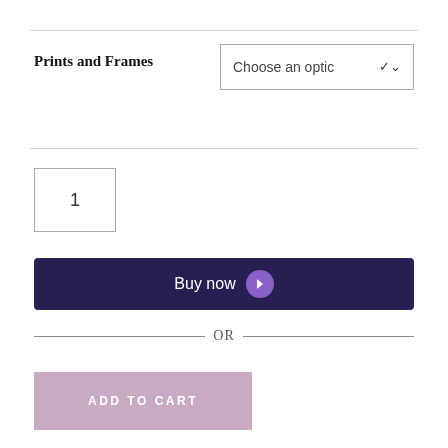Prints and Frames
Choose an option
1
Buy now
— OR —
ADD TO CART